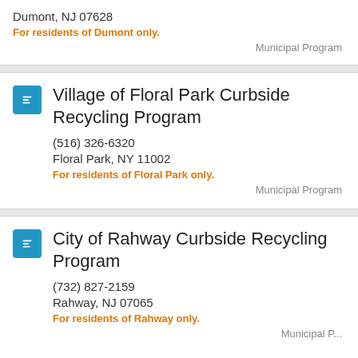Dumont, NJ 07628
For residents of Dumont only.
Municipal Program
Village of Floral Park Curbside Recycling Program
(516) 326-6320
Floral Park, NY 11002
For residents of Floral Park only.
Municipal Program
City of Rahway Curbside Recycling Program
(732) 827-2159
Rahway, NJ 07065
For residents of Rahway only.
Municipal P...